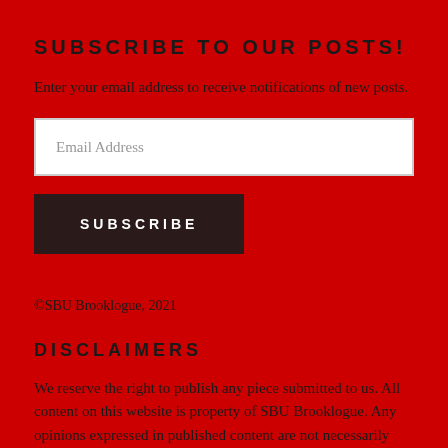SUBSCRIBE TO OUR POSTS!
Enter your email address to receive notifications of new posts.
Email Address
SUBSCRIBE
©SBU Brooklogue, 2021
DISCLAIMERS
We reserve the right to publish any piece submitted to us. All content on this website is property of SBU Brooklogue. Any opinions expressed in published content are not necessarily those of the SBU community. We retain the rights to the freedoms of